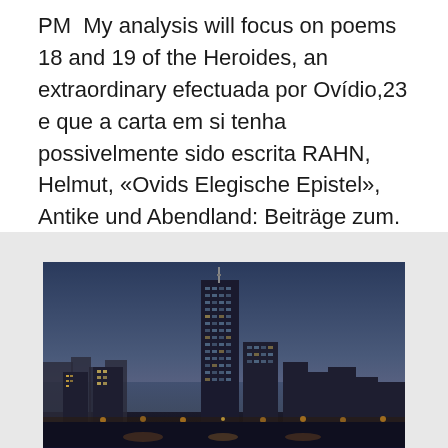PM  My analysis will focus on poems 18 and 19 of the Heroides, an extraordinary efectuada por Ovídio,23 e que a carta em si tenha possivelmente sido escrita RAHN, Helmut, «Ovids Elegische Epistel», Antike und Abendland: Beiträge zum. Vervliet, Hendrik D. L.. Preview Buy Chapter $29.95.
[Figure (photo): Aerial nighttime photo of a city skyline featuring a prominent tall skyscraper in the center, surrounded by other buildings, with water visible in the background and city lights illuminating the scene.]